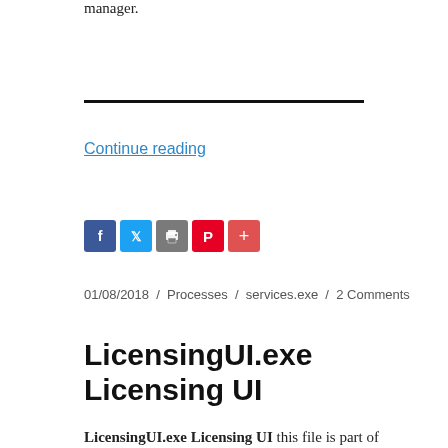manager.
Continue reading
[Figure (other): Social sharing icons: Facebook (blue), Twitter (light blue), Print (gray), Pinterest (red), More (red plus)]
01/08/2018 / Processes / services.exe / 2 Comments
LicensingUI.exe Licensing UI
LicensingUI.exe Licensing UI this file is part of